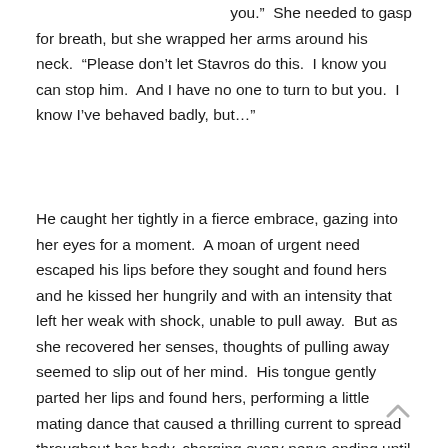you.”  She needed to gasp for breath, but she wrapped her arms around his neck.  “Please don’t let Stavros do this.  I know you can stop him.  And I have no one to turn to but you.  I know I’ve behaved badly, but…”
He caught her tightly in a fierce embrace, gazing into her eyes for a moment.  A moan of urgent need escaped his lips before they sought and found hers and he kissed her hungrily and with an intensity that left her weak with shock, unable to pull away.  But as she recovered her senses, thoughts of pulling away seemed to slip out of her mind.  His tongue gently parted her lips and found hers, performing a little mating dance that caused a thrilling current to spread throughout her body, charging every nerve ending until each one seemed to tingle with anticipation and long for more.  What am I doing?  No answer.  For a moment she felt absolutely powerless to do anything but respond to the passion of the instant which he, not she, dominated. Time stopped and the world around her stood still, dissolving into